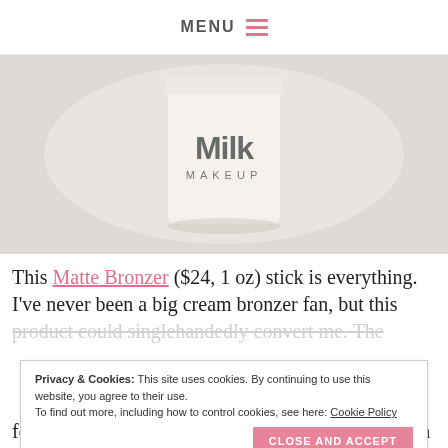MENU
[Figure (photo): Milk Makeup product container (white cylindrical stick) with 'Milk MAKEUP' logo on a light background]
This Matte Bronzer ($24, 1 oz) stick is everything. I've never been a big cream bronzer fan, but this product could singlehandedly convert me. The
Privacy & Cookies: This site uses cookies. By continuing to use this website, you agree to their use. To find out more, including how to control cookies, see here: Cookie Policy
CLOSE AND ACCEPT
formula was that I thought it would look more harsh